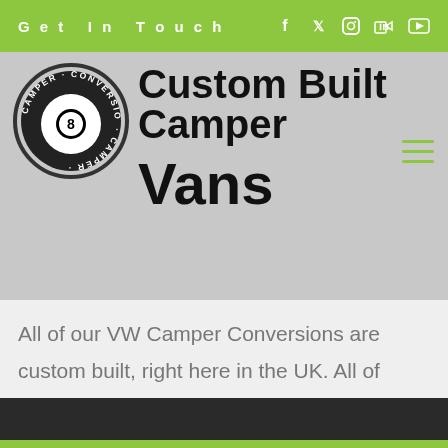Get In Touch
Custom Built Camper Vans
All of our VW Camper Conversions are custom built, right here in the UK. All of workmanship is carried out at our HQ in Yorkshire. We build everything our selves from the ground up, and covered by warranty.